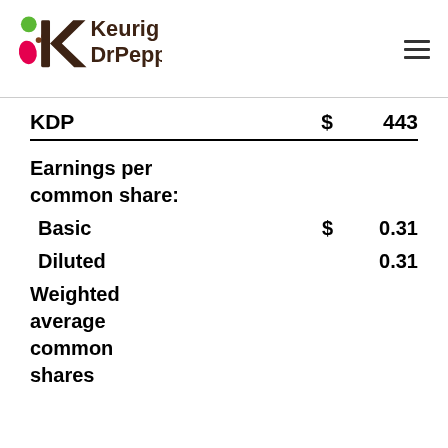[Figure (logo): Keurig Dr Pepper logo with colorful K icon and text]
| KDP | $ | 443 |
| Earnings per common share: |  |  |
| Basic | $ | 0.31 |
| Diluted |  | 0.31 |
| Weighted average common shares |  |  |